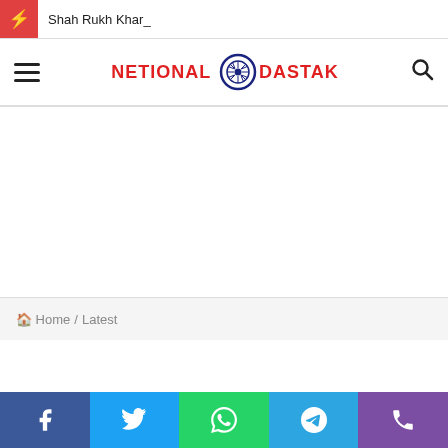Shah Rukh Khar_
[Figure (logo): NETIONAL DASTAK logo with Ashoka Chakra wheel icon between the two words, text in red]
Home / Latest
[Figure (infographic): Social media share bar with Facebook, Twitter, WhatsApp, Telegram, and Phone icons on colored backgrounds]